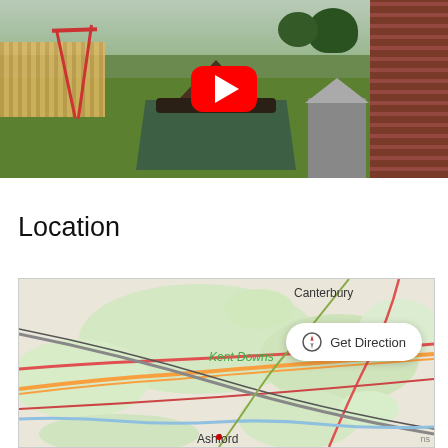[Figure (photo): Outdoor playground area showing red swing set on grass, a wooden hexagonal gazebo/picnic table with a wheel decoration, brick building on right, fence on left, trees in background, with YouTube play button overlay in center.]
Location
[Figure (map): OpenStreetMap showing area around Ashford, Kent, UK with Canterbury visible top right and Kent Downs label in green. Roads including major routes shown in orange, red/pink, and grey. Green areas indicating countryside/AONB. 'Get Direction' button overlay with compass icon.]